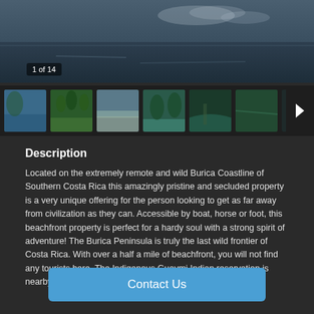[Figure (photo): Main large photo showing aerial/coastal view of Burica Coastline, dark water and sky]
1 of 14
[Figure (photo): Thumbnail strip of 6+ property photos including beach, palm trees, coastline, and forest scenes with next arrow]
Description
Located on the extremely remote and wild Burica Coastline of Southern Costa Rica this amazingly pristine and secluded property is a very unique offering for the person looking to get as far away from civilization as they can. Accessible by boat, horse or foot, this beachfront property is perfect for a hardy soul with a strong spirit of adventure! The Burica Peninsula is truly the last wild frontier of Costa Rica. With over a half a mile of beachfront, you will not find any tourists here. The Indigenous Guaymi Indian reservation is nearby and occas... beach with a hor... The pristine be... ong
Contact Us